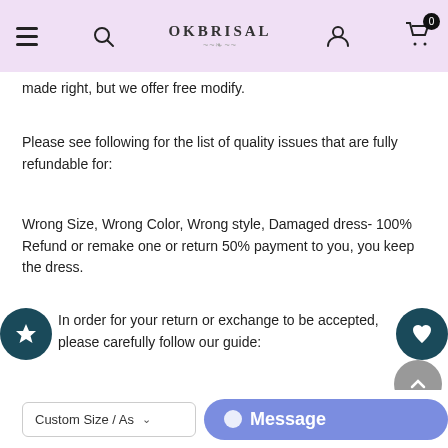OkBrisal navigation header
made right, but we offer free modify.
Please see following for the list of quality issues that are fully refundable for:
Wrong Size, Wrong Color, Wrong style, Damaged dress- 100% Refund or remake one or return 50% payment to you, you keep the dress.
In order for your return or exchange to be accepted, please carefully follow our guide:
1. Contact us within 2 days of receiving the dress (please let us know if you have some exceptional case in advance)